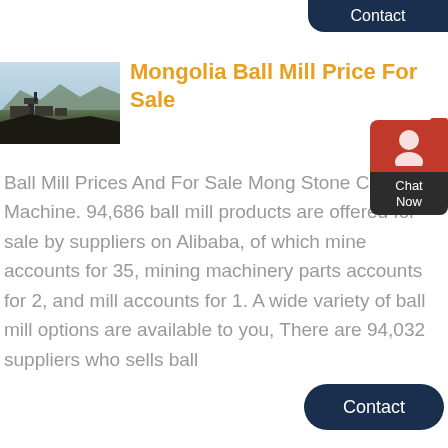Contact
[Figure (photo): Aerial or elevated view of a mining or industrial site with machinery and excavated terrain, mountains in background]
Mongolia Ball Mill Price For Sale
Ball Mill Prices And For Sale Mongolia Stone Crusher Machine. 94,686 ball mill products are offered for sale by suppliers on Alibaba, of which mine accounts for 35, mining machinery parts accounts for 2, and mill accounts for 1. A wide variety of ball mill options are available to you, There are 94,032 suppliers who sells ball
Contact